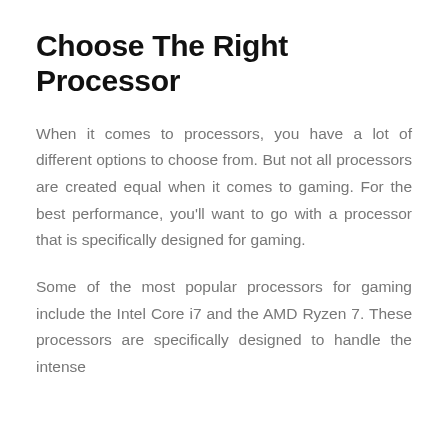Choose The Right Processor
When it comes to processors, you have a lot of different options to choose from. But not all processors are created equal when it comes to gaming. For the best performance, you'll want to go with a processor that is specifically designed for gaming.
Some of the most popular processors for gaming include the Intel Core i7 and the AMD Ryzen 7. These processors are specifically designed to handle the intense